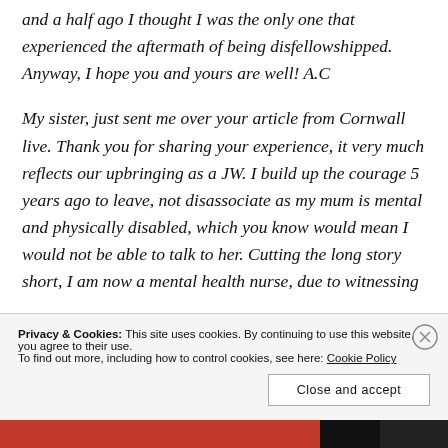and a half ago I thought I was the only one that experienced the aftermath of being disfellowshipped. Anyway, I hope you and yours are well! A.C
My sister, just sent me over your article from Cornwall live. Thank you for sharing your experience, it very much reflects our upbringing as a JW. I build up the courage 5 years ago to leave, not disassociate as my mum is mental and physically disabled, which you know would mean I would not be able to talk to her. Cutting the long story short, I am now a mental health nurse, due to witnessing
Privacy & Cookies: This site uses cookies. By continuing to use this website, you agree to their use.
To find out more, including how to control cookies, see here: Cookie Policy
Close and accept